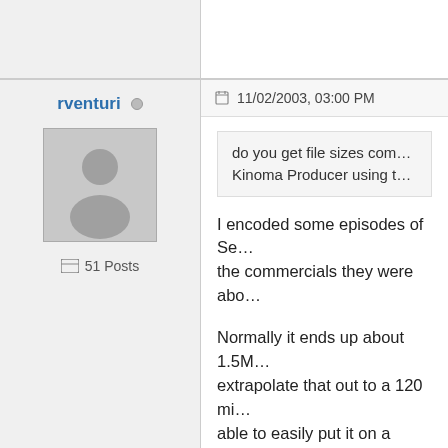rventuri
51 Posts
11/02/2003, 03:00 PM
do you get file sizes com... Kinoma Producer using t...
I encoded some episodes of Se... the commercials they were abo...
Normally it ends up about 1.5M... extrapolate that out to a 120 mi... able to easily put it on a 256ME...
Personally, I gave up on Kinom... encode the files and the I think... result isn't all that great.